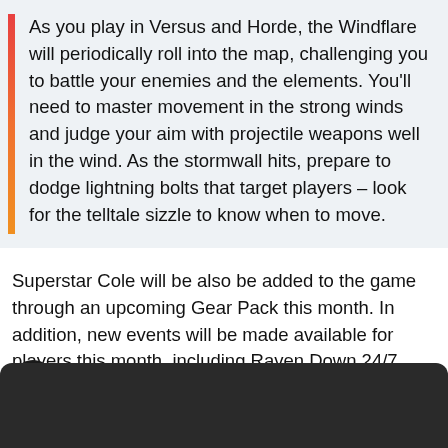As you play in Versus and Horde, the Windflare will periodically roll into the map, challenging you to battle your enemies and the elements. You'll need to master movement in the strong winds and judge your aim with projectile weapons well in the wind. As the stormwall hits, prepare to dodge lightning bolts that target players – look for the telltale sizzle to know when to move.
Superstar Cole will be also be added to the game through an upcoming Gear Pack this month. In addition, new events will be made available for players this month, including Raven Down 24/7.
[Figure (other): Share/export button icon (dark circle with share arrow icon)]